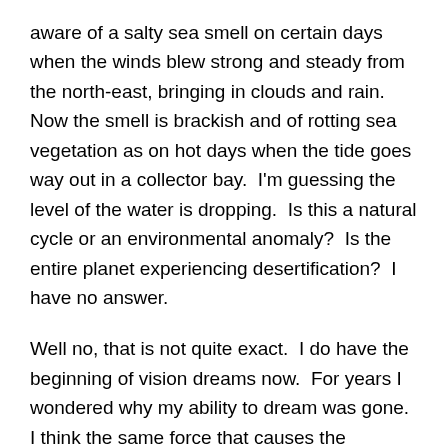aware of a salty sea smell on certain days when the winds blew strong and steady from the north-east, bringing in clouds and rain.  Now the smell is brackish and of rotting sea vegetation as on hot days when the tide goes way out in a collector bay.  I'm guessing the level of the water is dropping.  Is this a natural cycle or an environmental anomaly?  Is the entire planet experiencing desertification?  I have no answer.
Well no, that is not quite exact.  I do have the beginning of vision dreams now.  For years I wondered why my ability to dream was gone.  I think the same force that causes the misogynist imbalance is also responsible for preventing people from dreaming.  I know the women don't dream, though some have reported seeing things at night akin to nightmares but they “see” their dreams as something